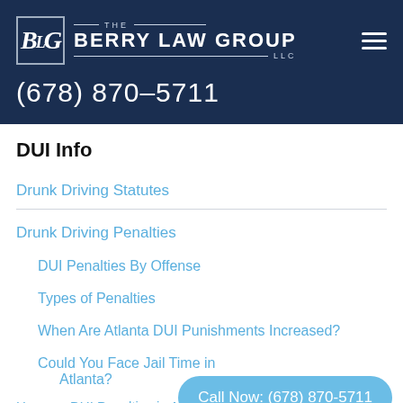[Figure (logo): The Berry Law Group LLC logo with stylized BLG monogram in a box, white text on navy background, with phone number (678) 870-5711]
DUI Info
Drunk Driving Statutes
Drunk Driving Penalties
DUI Penalties By Offense
Types of Penalties
When Are Atlanta DUI Punishments Increased?
Could You Face Jail Time in Atlanta?
Call Now: (678) 870-5711